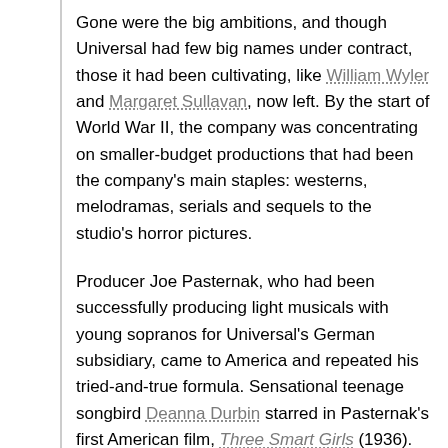Gone were the big ambitions, and though Universal had few big names under contract, those it had been cultivating, like William Wyler and Margaret Sullavan, now left. By the start of World War II, the company was concentrating on smaller-budget productions that had been the company's main staples: westerns, melodramas, serials and sequels to the studio's horror pictures.
Producer Joe Pasternak, who had been successfully producing light musicals with young sopranos for Universal's German subsidiary, came to America and repeated his tried-and-true formula. Sensational teenage songbird Deanna Durbin starred in Pasternak's first American film, Three Smart Girls (1936). The film was a box-office success and restored the studio's solvency. The